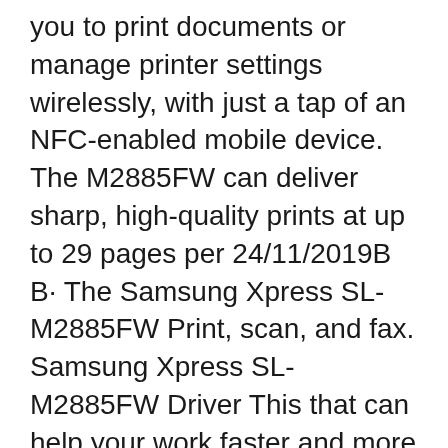you to print documents or manage printer settings wirelessly, with just a tap of an NFC-enabled mobile device. The M2885FW can deliver sharp, high-quality prints at up to 29 pages per 24/11/2019B B· The Samsung Xpress SL-M2885FW Print, scan, and fax. Samsung Xpress SL-M2885FW Driver This that can help your work faster and more efficiently. But to run this device, you must install the Samsung Xpress SL-M2885FW on this website.
05/05/2018B B· Print, copy, scan, and fax using the all-in-one Xpress M2885FW Multifunction Printer from Samsung. This easy-to-use printer features NFC technology, which enables